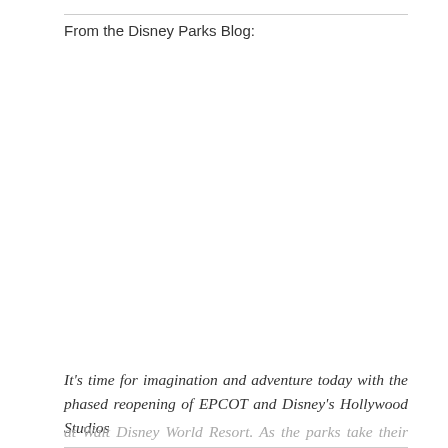From the Disney Parks Blog:
[Figure (photo): Blank/white placeholder area where an image would appear (image not visible in this rendering)]
It’s time for imagination and adventure today with the phased reopening of EPCOT and Disney’s Hollywood Studios at Walt Disney World Resort. As the parks take their deliberate and